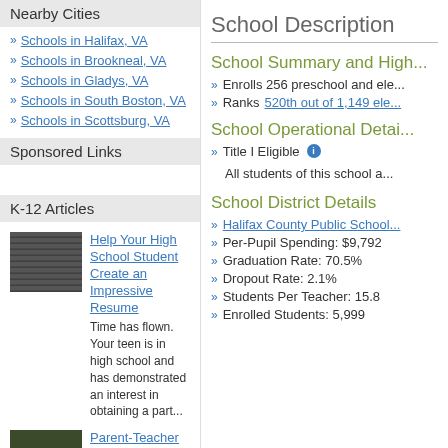Nearby Cities
Schools in Halifax, VA
Schools in Brookneal, VA
Schools in Gladys, VA
Schools in South Boston, VA
Schools in Scottsburg, VA
Sponsored Links
K-12 Articles
Help Your High School Student Create an Impressive Resume — Time has flown. Your teen is in high school and has demonstrated an interest in obtaining a part...
Parent-Teacher Conference Dos and Don'ts — Finals are over and done, and grades have arrived. Now comes the dreaded time to discuss the...
Public or Private? — Daniel attended private school until sixth grade, when he was diagnosed with Asperger's
School Description
School Summary and Highlights
Enrolls 256 preschool and ele...
Ranks 520th out of 1,149 ele...
School Operational Details
Title I Eligible — All students of this school a...
School District Details
Halifax County Public School...
Per-Pupil Spending: $9,792
Graduation Rate: 70.5%
Dropout Rate: 2.1%
Students Per Teacher: 15.8
Enrolled Students: 5,999